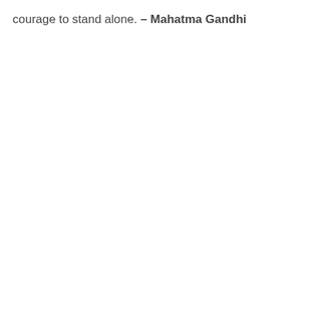courage to stand alone. – Mahatma Gandhi